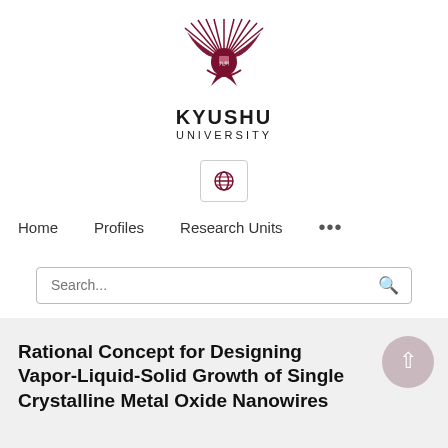[Figure (logo): Kyushu University logo — stylized sunburst/phoenix emblem in dark red/maroon, with text KYUSHU UNIVERSITY below]
Home  Profiles  Research Units  ...
Search...
Rational Concept for Designing Vapor-Liquid-Solid Growth of Single Crystalline Metal Oxide Nanowires